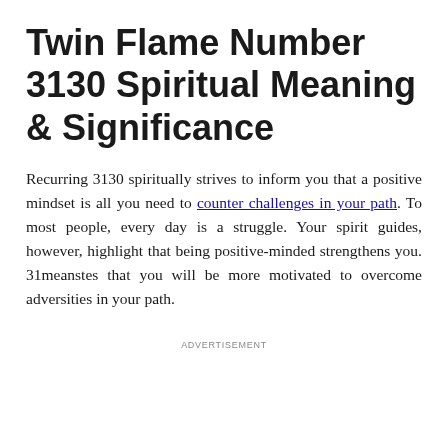Twin Flame Number 3130 Spiritual Meaning & Significance
Recurring 3130 spiritually strives to inform you that a positive mindset is all you need to counter challenges in your path. To most people, every day is a struggle. Your spirit guides, however, highlight that being positive-minded strengthens you. 31meanstes that you will be more motivated to overcome adversities in your path.
ADVERTISEMENT